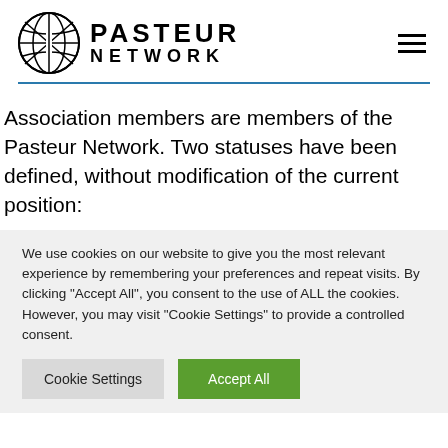[Figure (logo): Pasteur Network globe logo with text PASTEUR NETWORK]
Association members are members of the Pasteur Network. Two statuses have been defined, without modification of the current position:
We use cookies on our website to give you the most relevant experience by remembering your preferences and repeat visits. By clicking "Accept All", you consent to the use of ALL the cookies. However, you may visit "Cookie Settings" to provide a controlled consent.
Cookie Settings | Accept All